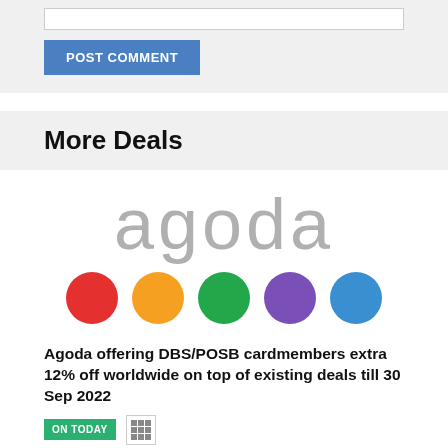[input box]
POST COMMENT
More Deals
[Figure (logo): Agoda logo with grey lowercase text 'agoda' and five colored circles below: red, orange, green, purple, blue]
Agoda offering DBS/POSB cardmembers extra 12% off worldwide on top of existing deals till 30 Sep 2022
ON TODAY